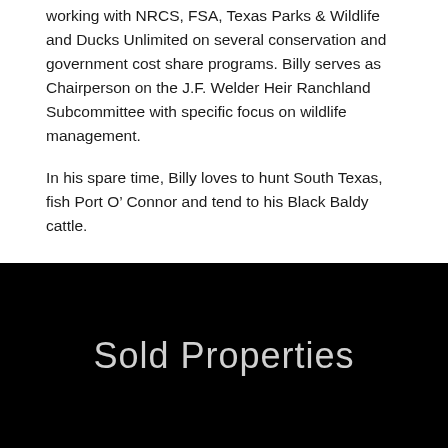working with NRCS, FSA, Texas Parks & Wildlife and Ducks Unlimited on several conservation and government cost share programs. Billy serves as Chairperson on the J.F. Welder Heir Ranchland Subcommittee with specific focus on wildlife management.
In his spare time, Billy loves to hunt South Texas, fish Port O' Connor and tend to his Black Baldy cattle.
Sold Properties